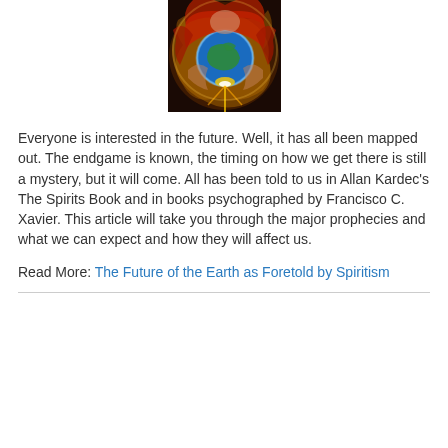[Figure (illustration): A woman with flowing red hair embracing a glowing crystal ball showing Earth, surrounded by swirling golden energy and light.]
Everyone is interested in the future. Well, it has all been mapped out. The endgame is known, the timing on how we get there is still a mystery, but it will come. All has been told to us in Allan Kardec's The Spirits Book and in books psychographed by Francisco C. Xavier. This article will take you through the major prophecies and what we can expect and how they will affect us.
Read More: The Future of the Earth as Foretold by Spiritism